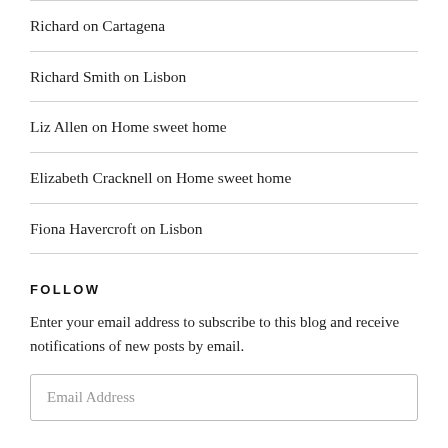Richard on Cartagena
Richard Smith on Lisbon
Liz Allen on Home sweet home
Elizabeth Cracknell on Home sweet home
Fiona Havercroft on Lisbon
FOLLOW
Enter your email address to subscribe to this blog and receive notifications of new posts by email.
Email Address